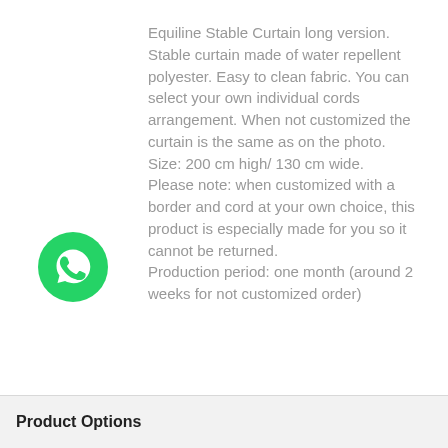Equiline Stable Curtain long version. Stable curtain made of water repellent polyester. Easy to clean fabric. You can select your own individual cords arrangement. When not customized the curtain is the same as on the photo. Size: 200 cm high/ 130 cm wide. Please note: when customized with a border and cord at your own choice, this product is especially made for you so it cannot be returned. Production period: one month (around 2 weeks for not customized order)
[Figure (logo): WhatsApp green circular logo icon]
Product Options